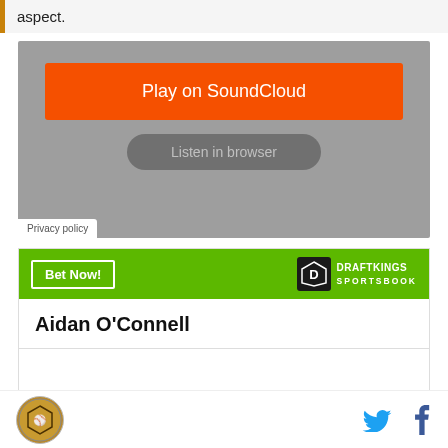aspect.
[Figure (screenshot): SoundCloud embed widget with orange 'Play on SoundCloud' button and grey 'Listen in browser' button on a grey background. Privacy policy link at bottom left.]
[Figure (infographic): DraftKings Sportsbook betting widget with green header containing 'Bet Now!' button and DraftKings Sportsbook logo. Shows 'Aidan O'Connell' as betting subject.]